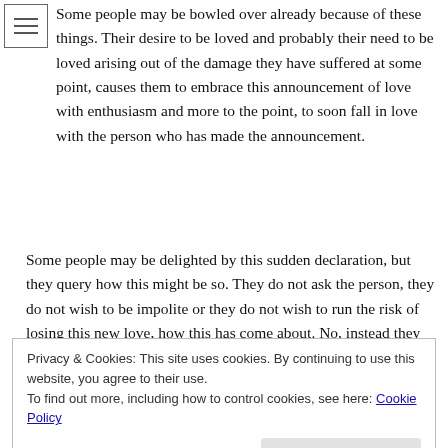Some people may be bowled over already because of these things. Their desire to be loved and probably their need to be loved arising out of the damage they have suffered at some point, causes them to embrace this announcement of love with enthusiasm and more to the point, to soon fall in love with the person who has made the announcement.
Some people may be delighted by this sudden declaration, but they query how this might be so. They do not ask the person, they do not wish to be impolite or they do not wish to run the risk of losing this new love, how this has come about. No, instead they consider how this might come to be the case.
“Well, we have known each other since we were at school.”
Privacy & Cookies: This site uses cookies. By continuing to use this website, you agree to their use.
To find out more, including how to control cookies, see here: Cookie Policy
Close and accept